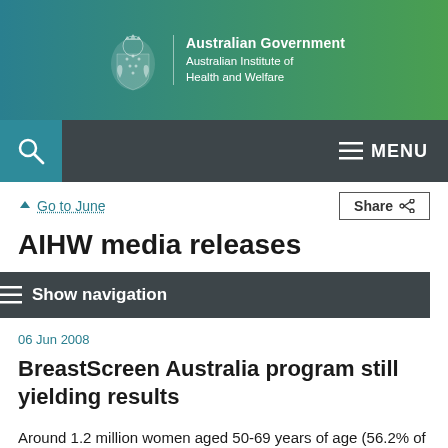[Figure (logo): Australian Government coat of arms with text: Australian Government, Australian Institute of Health and Welfare, on a teal-to-green gradient background]
Australian Government
Australian Institute of Health and Welfare
Go to June
Share
AIHW media releases
Show navigation
06 Jun 2008
BreastScreen Australia program still yielding results
Around 1.2 million women aged 50-69 years of age (56.2% of all